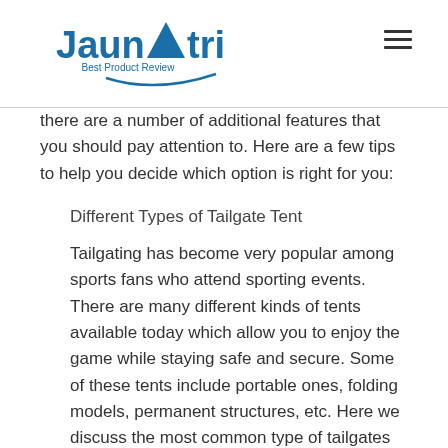Jaunatri – Best Product Review
there are a number of additional features that you should pay attention to. Here are a few tips to help you decide which option is right for you:
Different Types of Tailgate Tent
Tailgating has become very popular among sports fans who attend sporting events. There are many different kinds of tents available today which allow you to enjoy the game while staying safe and secure. Some of these tents include portable ones, folding models, permanent structures, etc. Here we discuss the most common type of tailgates available today.
Portable Tents